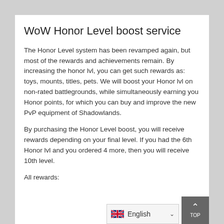WoW Honor Level boost service
The Honor Level system has been revamped again, but most of the rewards and achievements remain. By increasing the honor lvl, you can get such rewards as: toys, mounts, titles, pets. We will boost your Honor lvl on non-rated battlegrounds, while simultaneously earning you Honor points, for which you can buy and improve the new PvP equipment of Shadowlands.
By purchasing the Honor Level boost, you will receive rewards depending on your final level. If you had the 6th Honor lvl and you ordered 4 more, then you will receive 10th level.
All rewards: